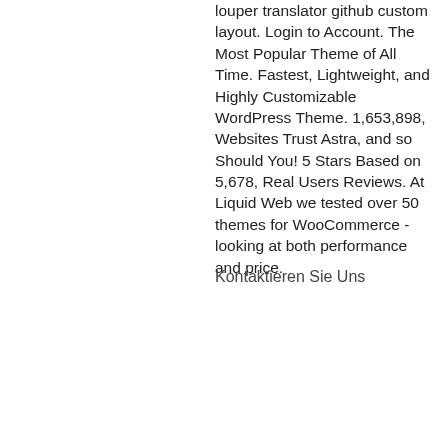louper translator github custom layout. Login to Account. The Most Popular Theme of All Time. Fastest, Lightweight, and Highly Customizable WordPress Theme. 1,653,898, Websites Trust Astra, and so Should You! 5 Stars Based on 5,678, Real Users Reviews. At Liquid Web we tested over 50 themes for WooCommerce - looking at both performance and price.
Kontaktieren Sie Uns